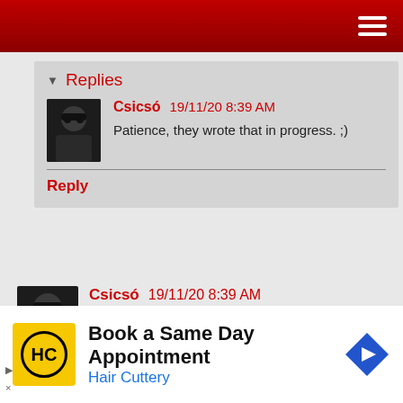[Figure (screenshot): Red navigation bar with hamburger menu icon]
Replies
[Figure (photo): User avatar thumbnail - person with sunglasses]
Csicsó 19/11/20 8:39 AM
Patience, they wrote that in progress. ;)
Reply
[Figure (photo): User avatar thumbnail - person with sunglasses]
Csicsó 19/11/20 8:39 AM
Very cool!
Reply
[Figure (other): Hair Cuttery advertisement - Book a Same Day Appointment]
Book a Same Day Appointment
Hair Cuttery